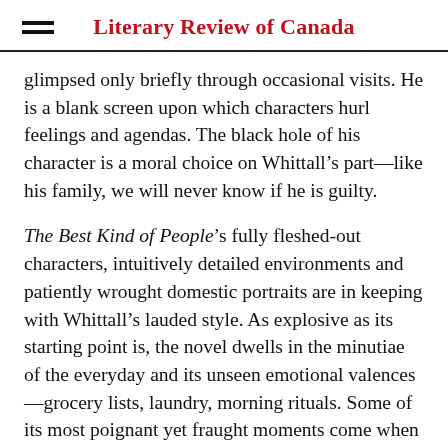Literary Review of Canada
glimpsed only briefly through occasional visits. He is a blank screen upon which characters hurl feelings and agendas. The black hole of his character is a moral choice on Whittall’s part—like his family, we will never know if he is guilty.
The Best Kind of People’s fully fleshed-out characters, intuitively detailed environments and patiently wrought domestic portraits are in keeping with Whittall’s lauded style. As explosive as its starting point is, the novel dwells in the minutiae of the everyday and its unseen emotional valences—grocery lists, laundry, morning rituals. Some of its most poignant yet fraught moments come when Joan attends a support group for women with partners in prison. Whittall captures her